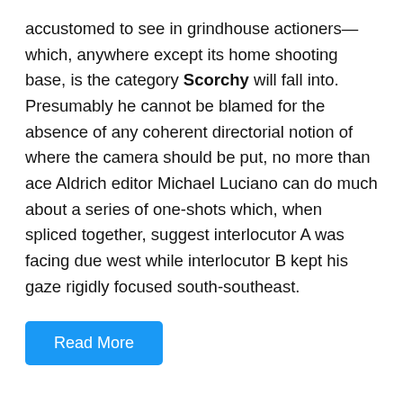accustomed to see in grindhouse actioners—which, anywhere except its home shooting base, is the category Scorchy will fall into. Presumably he cannot be blamed for the absence of any coherent directorial notion of where the camera should be put, no more than ace Aldrich editor Michael Luciano can do much about a series of one-shots which, when spliced together, suggest interlocutor A was facing due west while interlocutor B kept his gaze rigidly focused south-southeast.
Read More
Search ...
Search